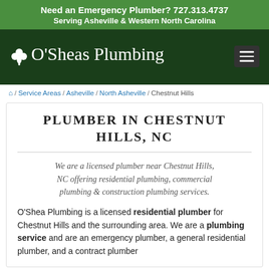Need an Emergency Plumber? 727.313.4737
Serving Asheville & Western North Carolina
[Figure (logo): O'Sheas Plumbing logo with white shamrock/clover icon and serif text on dark green background, with hamburger menu icon]
/ Service Areas / Asheville / North Asheville / Chestnut Hills
PLUMBER IN CHESTNUT HILLS, NC
We are a licensed plumber near Chestnut Hills, NC offering residential plumbing, commercial plumbing & construction plumbing services.
O'Shea Plumbing is a licensed residential plumber for Chestnut Hills and the surrounding area. We are a plumbing service and are an emergency plumber, a general residential plumber, and a contract plumber